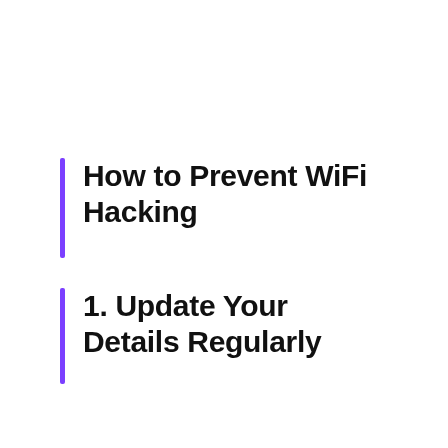How to Prevent WiFi Hacking
1. Update Your Details Regularly